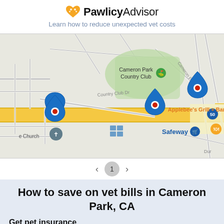PawlicyAdvisor
Learn how to reduce unexpected vet costs
[Figure (map): Google Map showing Cameron Park, CA area with blue location pins and red dot markers indicating vet locations. Landmarks visible: Cameron Park Country Club, Applebee's Grill + Bar, Safeway, Wally's, a Church. Roads include Country Club Dr, Cameron Park Dr, Highway 50.]
< 1 >
How to save on vet bills in Cameron Park, CA
Get pet insurance